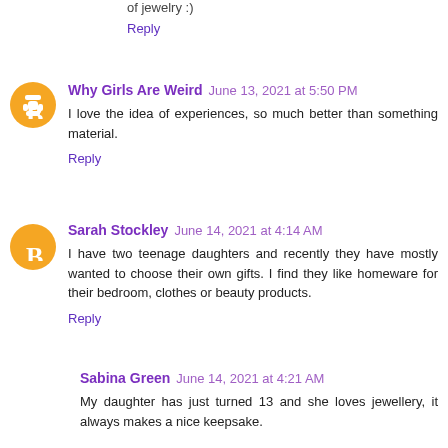of jewelry :)
Reply
Why Girls Are Weird  June 13, 2021 at 5:50 PM
I love the idea of experiences, so much better than something material.
Reply
Sarah Stockley  June 14, 2021 at 4:14 AM
I have two teenage daughters and recently they have mostly wanted to choose their own gifts. I find they like homeware for their bedroom, clothes or beauty products.
Reply
Sabina Green  June 14, 2021 at 4:21 AM
My daughter has just turned 13 and she loves jewellery, it always makes a nice keepsake.